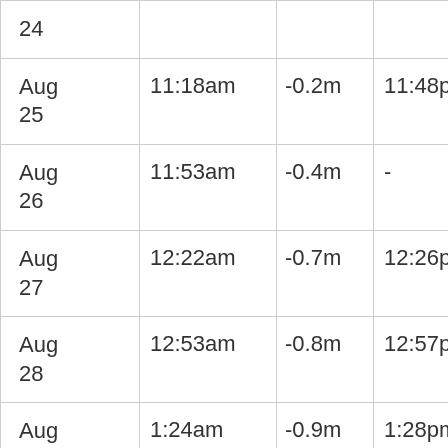| Date | Low Tide Time | Low Tide Height | Low Tide Time 2 | Low Tide Height 2 |
| --- | --- | --- | --- | --- |
| Aug 24 |  |  |  |  |
| Aug 25 | 11:18am | -0.2m | 11:48pm | -0.5 |
| Aug 26 | 11:53am | -0.4m | - | - |
| Aug 27 | 12:22am | -0.7m | 12:26pm | -0.6 |
| Aug 28 | 12:53am | -0.8m | 12:57pm | -0.6 |
| Aug 29 | 1:24am | -0.9m | 1:28pm | -0.6 |
| Aug 30 | 1:53am | -0.9m | 2:00pm | -0.6 |